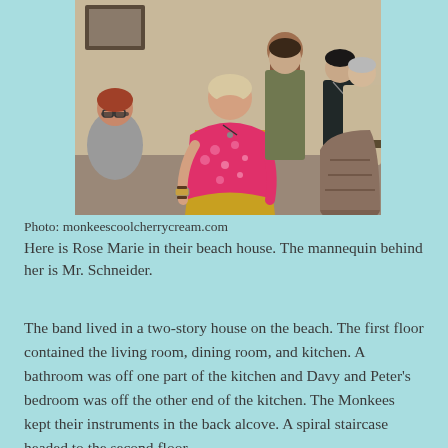[Figure (photo): A group of people in a beach house living room scene. A woman in a bright pink floral jacket and yellow skirt stands in the center, looking down. Several other people are visible around her, including a person seated at left with glasses, and others standing in the background.]
Photo: monkeescoolcherrycream.com
Here is Rose Marie in their beach house. The mannequin behind her is Mr. Schneider.
The band lived in a two-story house on the beach. The first floor contained the living room, dining room, and kitchen. A bathroom was off one part of the kitchen and Davy and Peter's bedroom was off the other end of the kitchen. The Monkees kept their instruments in the back alcove. A spiral staircase headed to the second floor